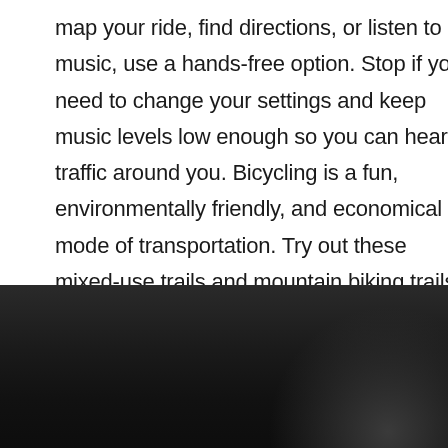map your ride, find directions, or listen to music, use a hands-free option. Stop if you need to change your settings and keep music levels low enough so you can hear traffic around you. Bicycling is a fun, environmentally friendly, and economical mode of transportation. Try out these mixed-use trails and mountain biking trails to mix up your daily ride and get more out of your bicycling experience. Happy and safe riding from your San Bernardino Accident Attorney team at Estey & Bomberger, LLP!
[Figure (photo): Dark photograph, mostly black/dark grey tones, showing a partial silhouette of a person in the lower portion of the page]